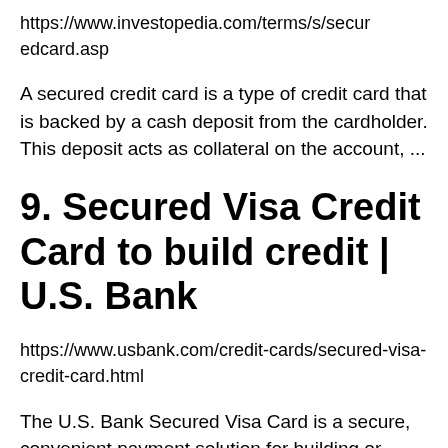https://www.investopedia.com/terms/s/securedcard.asp
A secured credit card is a type of credit card that is backed by a cash deposit from the cardholder. This deposit acts as collateral on the account, ...
9. Secured Visa Credit Card to build credit | U.S. Bank
https://www.usbank.com/credit-cards/secured-visa-credit-card.html
The U.S. Bank Secured Visa Card is a secure, convenient payment solution for building or